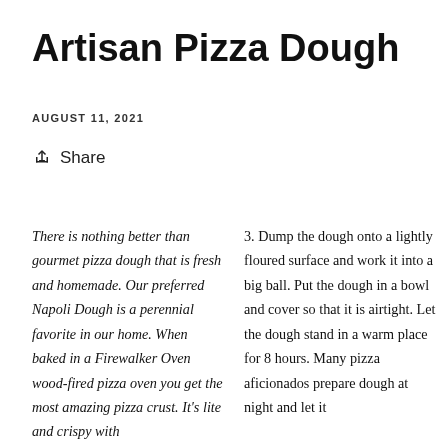Artisan Pizza Dough
AUGUST 11, 2021
Share
There is nothing better than gourmet pizza dough that is fresh and homemade. Our preferred Napoli Dough is a perennial favorite in our home. When baked in a Firewalker Oven wood-fired pizza oven you get the most amazing pizza crust. It's lite and crispy with
3. Dump the dough onto a lightly floured surface and work it into a big ball. Put the dough in a bowl and cover so that it is airtight. Let the dough stand in a warm place for 8 hours. Many pizza aficionados prepare dough at night and let it